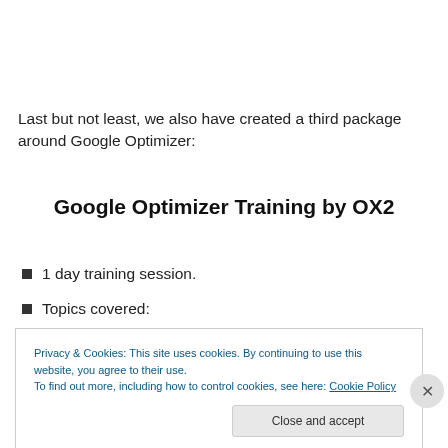Last but not least, we also have created a third package around Google Optimizer:
Google Optimizer Training by OX2
1 day training session.
Topics covered:
Privacy & Cookies: This site uses cookies. By continuing to use this website, you agree to their use.
To find out more, including how to control cookies, see here: Cookie Policy
Close and accept